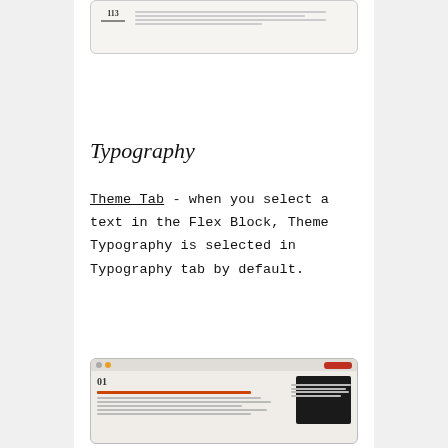[Figure (screenshot): Partial screenshot of a document page showing a header with '113' and some text lines, cropped at top]
Typography
Theme Tab -  when you select a text in the Flex Block, Theme Typography is selected in Typography tab by default.
[Figure (screenshot): Screenshot of a UI showing a document editor with orange and red buttons in the top bar, a heading '01', orange text, a dark black panel/block overlay, and text columns on the right side]